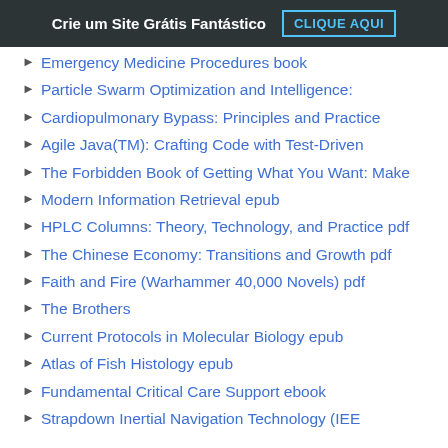Crie um Site Grátis Fantástico  CLIQUE AQUI
Emergency Medicine Procedures book
Particle Swarm Optimization and Intelligence:
Cardiopulmonary Bypass: Principles and Practice
Agile Java(TM): Crafting Code with Test-Driven
The Forbidden Book of Getting What You Want: Make
Modern Information Retrieval epub
HPLC Columns: Theory, Technology, and Practice pdf
The Chinese Economy: Transitions and Growth pdf
Faith and Fire (Warhammer 40,000 Novels) pdf
The Brothers
Current Protocols in Molecular Biology epub
Atlas of Fish Histology epub
Fundamental Critical Care Support ebook
Strapdown Inertial Navigation Technology (IEE